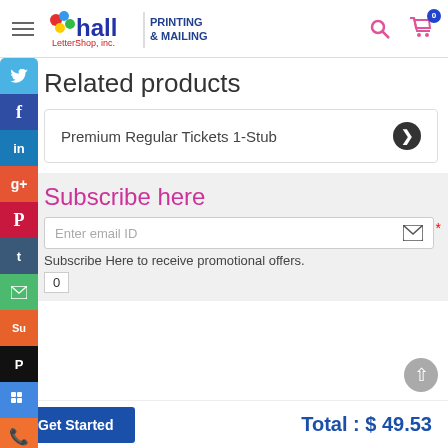[Figure (logo): Hall Letter Shop inc. Printing & Mailing logo with navigation icons]
Related products
Premium Regular Tickets 1-Stub
Subscribe here
Enter email ID
Subscribe Here to receive promotional offers.
0
Get Started
Total : $ 49.53